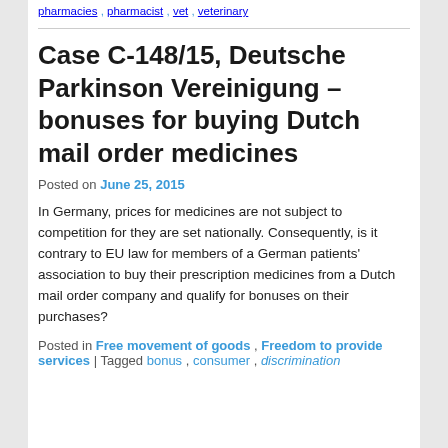pharmacies, pharmacist, vet, veterinary
Case C-148/15, Deutsche Parkinson Vereinigung – bonuses for buying Dutch mail order medicines
Posted on June 25, 2015
In Germany, prices for medicines are not subject to competition for they are set nationally. Consequently, is it contrary to EU law for members of a German patients' association to buy their prescription medicines from a Dutch mail order company and qualify for bonuses on their purchases?
Posted in Free movement of goods, Freedom to provide services | Tagged bonus, consumer, discrimination